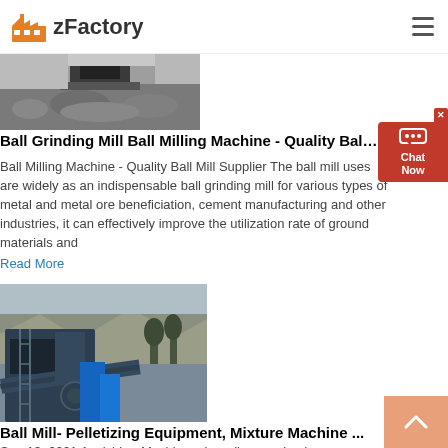zFactory
[Figure (photo): Aerial view of gravel/aggregate pile at a mining site]
Ball Grinding Mill Ball Milling Machine - Quality Ball ...
Ball Milling Machine - Quality Ball Mill Supplier The ball mill uses are widely as an indispensable ball grinding mill for various types of metal and metal ore beneficiation, cement manufacturing and other industries, it can effectively improve the utilization rate of ground materials and
Read More
[Figure (photo): Industrial crusher/ball mill equipment at a quarry site with rock face in background]
Ball Mill- Pelletizing Equipment, Mixture Machine ...
Sep 13, 2021  Aavishkar Machinery is well recognized company engaged in development of turnkey projects and manufacturing finest quality